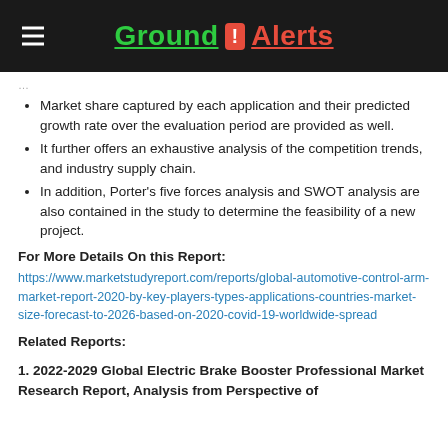Ground ! Alerts
Market share captured by each application and their predicted growth rate over the evaluation period are provided as well.
It further offers an exhaustive analysis of the competition trends, and industry supply chain.
In addition, Porter's five forces analysis and SWOT analysis are also contained in the study to determine the feasibility of a new project.
For More Details On this Report:
https://www.marketstudyreport.com/reports/global-automotive-control-arm-market-report-2020-by-key-players-types-applications-countries-market-size-forecast-to-2026-based-on-2020-covid-19-worldwide-spread
Related Reports:
1. 2022-2029 Global Electric Brake Booster Professional Market Research Report, Analysis from Perspective of